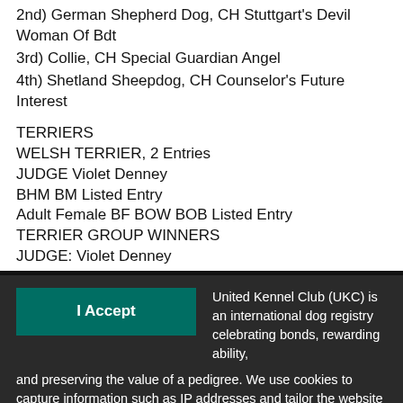2nd) German Shepherd Dog, CH Stuttgart's Devil Woman Of Bdt
3rd) Collie, CH Special Guardian Angel
4th) Shetland Sheepdog, CH Counselor's Future Interest
TERRIERS
WELSH TERRIER, 2 Entries
JUDGE Violet Denney
BHM BM Listed Entry
Adult Female BF BOW BOB Listed Entry
TERRIER GROUP WINNERS
JUDGE: Violet Denney
United Kennel Club (UKC) is an international dog registry celebrating bonds, rewarding ability, and preserving the value of a pedigree. We use cookies to capture information such as IP addresses and tailor the website to our clients' needs. We also use this information to target and measure promotional material. Please see our Privacy Policy for more information.